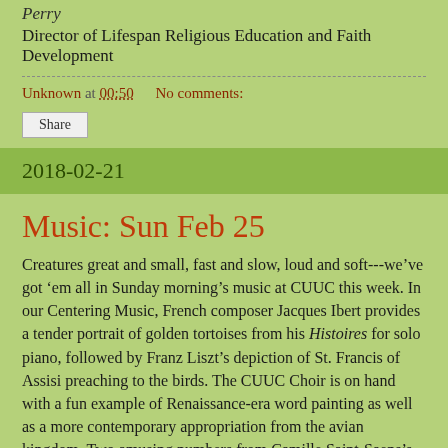Perry
Director of Lifespan Religious Education and Faith Development
Unknown at 00:50    No comments:
Share
2018-02-21
Music: Sun Feb 25
Creatures great and small, fast and slow, loud and soft---we’ve got ‘em all in Sunday morning’s music at CUUC this week. In our Centering Music, French composer Jacques Ibert provides a tender portrait of golden tortoises from his Histoires for solo piano, followed by Franz Liszt’s depiction of St. Francis of Assisi preaching to the birds. The CUUC Choir is on hand with a fun example of Renaissance-era word painting as well as a more contemporary appropriation from the avian kingdom. Two amusing numbers from Camille Saint-Saens’s Carnival of the